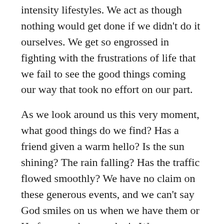intensity lifestyles. We act as though nothing would get done if we didn't do it ourselves. We get so engrossed in fighting with the frustrations of life that we fail to see the good things coming our way that took no effort on our part.
As we look around us this very moment, what good things do we find? Has a friend given a warm hello? Is the sun shining? The rain falling? Has the traffic flowed smoothly? We have no claim on these generous events, and we can't say God smiles on us when we have them or He frowns when we don't. We can say there are always generous forces coming our way, which comfort and heal us. We only need to take time to enjoy them.
Today I will take a moment to appreciate the